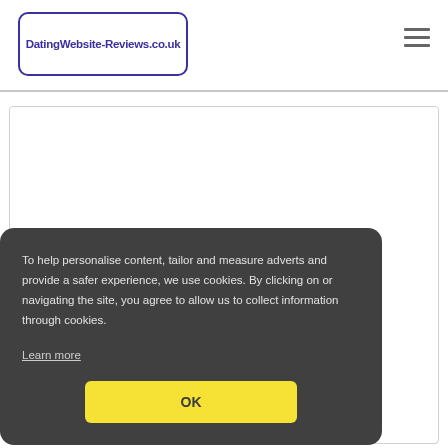DatingWebsite-Reviews.co.uk
[Figure (logo): DatingWebsite-Reviews.co.uk logo in a rounded rectangle border, purple text]
To help personalise content, tailor and measure adverts and provide a safer experience, we use cookies. By clicking on or navigating the site, you agree to allow us to collect information through cookies.
Learn more
OK